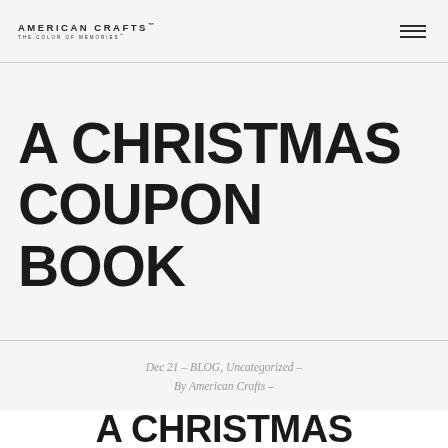AMERICAN CRAFTS THE COLOR OF MEMORIES
A CHRISTMAS COUPON BOOK
Dec 21 – BLOG, Uncategorized – By American Crafts –
A CHRISTMAS